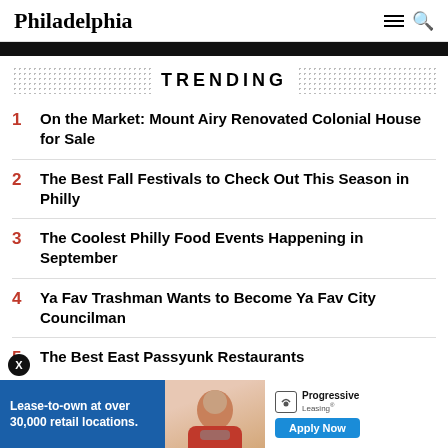Philadelphia
TRENDING
1 On the Market: Mount Airy Renovated Colonial House for Sale
2 The Best Fall Festivals to Check Out This Season in Philly
3 The Coolest Philly Food Events Happening in September
4 Ya Fav Trashman Wants to Become Ya Fav City Councilman
5 The Best East Passyunk Restaurants
[Figure (infographic): Advertisement banner for Progressive Leasing: Lease-to-own at over 30,000 retail locations. Apply Now.]